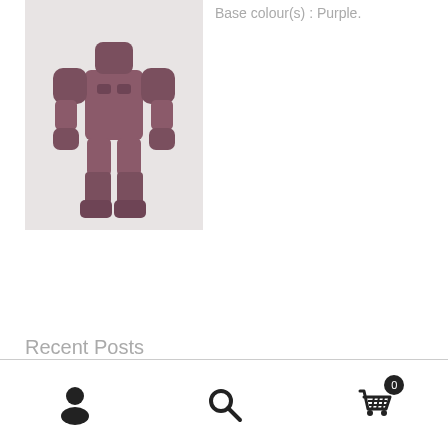[Figure (photo): Purple robot/mech action figure standing against a white background]
Base colour(s) : Purple.
Recent Posts
Navigation bar icons: user, search, and shopping cart with badge showing 0